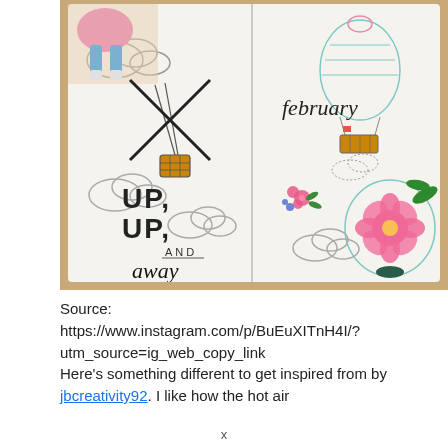[Figure (photo): A bullet journal open spread photographed from above on a wooden surface. Left page features hand-drawn clouds, a hot air balloon (wicker basket), and large hand-lettered text reading 'UP, UP, AND away'. Right page shows the word 'february' in cursive script, decorated with pink flowers, more clouds, and another hot air balloon with a pink flower design. A person dressed in pink and blue is illustrated at the top left.]
Source: https://www.instagram.com/p/BuEuXITnH4I/?utm_source=ig_web_copy_link
Here’s something different to get inspired from by jbcreativity92. I like how the hot air
x